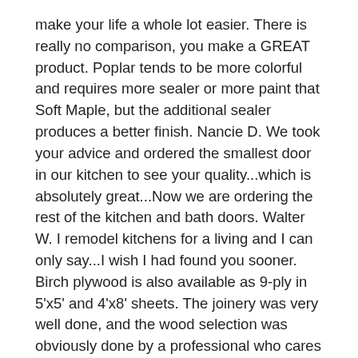make your life a whole lot easier. There is really no comparison, you make a GREAT product. Poplar tends to be more colorful and requires more sealer or more paint that Soft Maple, but the additional sealer produces a better finish. Nancie D. We took your advice and ordered the smallest door in our kitchen to see your quality...which is absolutely great...Now we are ordering the rest of the kitchen and bath doors. Walter W. I remodel kitchens for a living and I can only say...I wish I had found you sooner. Birch plywood is also available as 9-ply in 5'x5' and 4'x8' sheets. The joinery was very well done, and the wood selection was obviously done by a professional who cares what the finished product looks like. Mark each door on the sketch with A, B, C etc. You made some replacement doors for a rental I own. Your new painted doors will be ready for delivery or collection in approximately 15 working days. MDF is used as the panel in all of our Recessed Panel Paint-Grade Cabinet Doors, and is